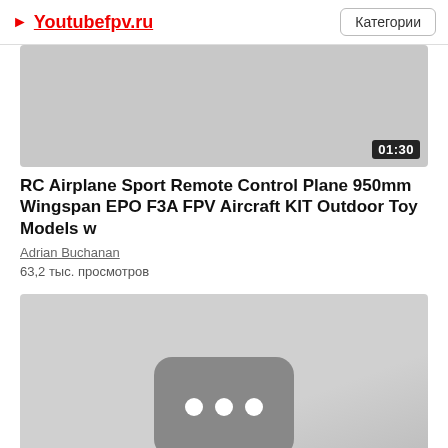Youtubefpv.ru | Категории
[Figure (screenshot): Video thumbnail placeholder — grey rectangle with duration badge 01:30 in bottom right corner]
RC Airplane Sport Remote Control Plane 950mm Wingspan EPO F3A FPV Aircraft KIT Outdoor Toy Models w
Adrian Buchanan
63,2 тыс. просмотров
[Figure (screenshot): Video thumbnail showing a grey background with a dark rounded-rectangle YouTube loading icon with three white circles]